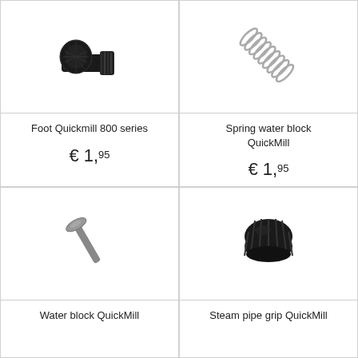[Figure (photo): Black threaded pipe fitting / foot piece for Quickmill 800 series, angled elbow connector]
Foot Quickmill 800 series
€ 1,95
[Figure (photo): Metal coil spring for water block QuickMill]
Spring water block QuickMill
€ 1,95
[Figure (photo): Small flat-head metal screw/pin for Water block QuickMill]
Water block QuickMill
[Figure (photo): Black ribbed/knurled steam pipe grip knob for QuickMill]
Steam pipe grip QuickMill